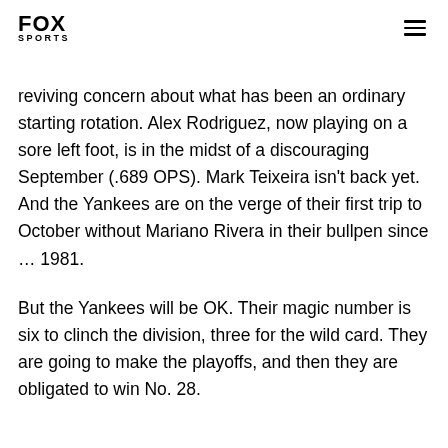FOX SPORTS
reviving concern about what has been an ordinary starting rotation. Alex Rodriguez, now playing on a sore left foot, is in the midst of a discouraging September (.689 OPS). Mark Teixeira isn't back yet. And the Yankees are on the verge of their first trip to October without Mariano Rivera in their bullpen since … 1981.
But the Yankees will be OK. Their magic number is six to clinch the division, three for the wild card. They are going to make the playoffs, and then they are obligated to win No. 28.